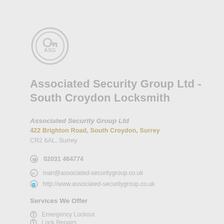[Figure (logo): Circular logo with stylized key/lock symbol in light gray]
Associated Security Group Ltd - South Croydon Locksmith
Associated Security Group Ltd
422 Brighton Road, South Croydon, Surrey
CR2 6AL, Surrey
02031 464774
man@associated-securitygroup.co.uk
http://www.associated-securitygroup.co.uk
Services We Offer
Emergency Lockout
Lock Repairs